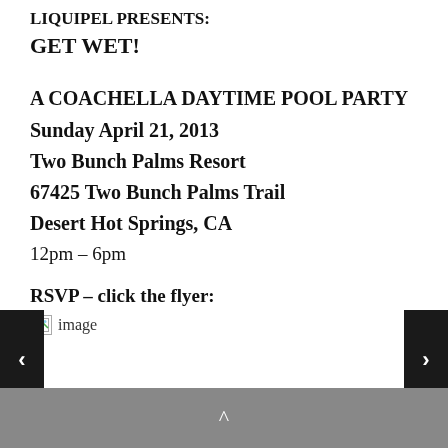LIQUIPEL PRESENTS:
GET WET!
A COACHELLA DAYTIME POOL PARTY
Sunday April 21, 2013
Two Bunch Palms Resort
67425 Two Bunch Palms Trail
Desert Hot Springs, CA
12pm – 6pm
RSVP – click the flyer:
[Figure (other): Broken image placeholder with alt text 'image']